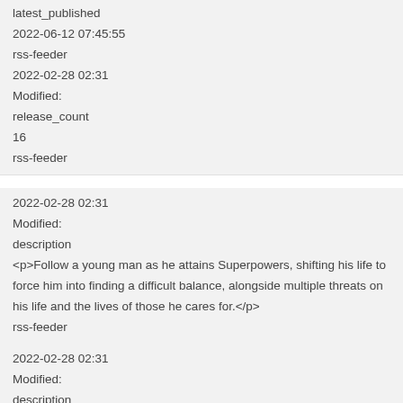latest_published
2022-06-12 07:45:55
rss-feeder
2022-02-28 02:31
Modified:
release_count
16
rss-feeder
2022-02-28 02:31
Modified:
description
<p>Follow a young man as he attains Superpowers, shifting his life to force him into finding a difficult balance, alongside multiple threats on his life and the lives of those he cares for.</p>
rss-feeder
2022-02-28 02:31
Modified:
description